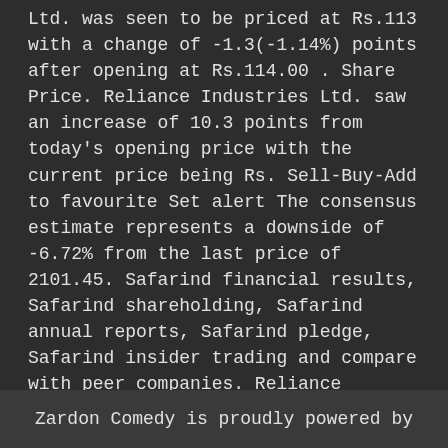Ltd. was seen to be priced at Rs.113 with a change of -1.3(-1.14%) points after opening at Rs.114.00 . Share Price. Reliance Industries Ltd. saw an increase of 10.3 points from today's opening price with the current price being Rs. Sell-Buy-Add to favourite Set alert The consensus estimate represents a downside of -6.72% from the last price of 2101.45. Safarind financial results, Safarind shareholding, Safarind annual reports, Safarind pledge, Safarind insider trading and compare with peer companies. Reliance Industries Ltd NSE/BSE share price Live, News, stock performance, dividend, financials, share Holdings, balance sheet, charts and more at capital market About Us. Share Price, Corporate Actions, Valuation, Research Report, Financials and more - complete track record of VIP Industries Ltd.. From India's independent mutual fund
Zardon Comedy is proudly powered by